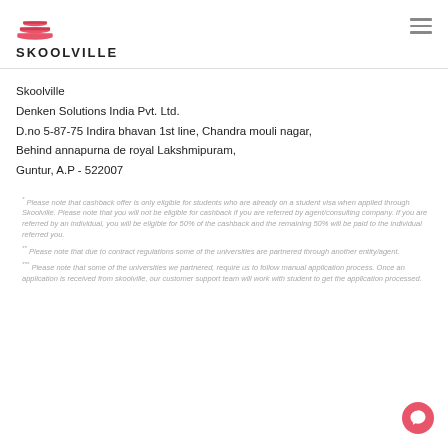[Figure (logo): Skoolville logo: red stacked books icon above the text SKOOLVILLE]
Skoolville
Denken Solutions India Pvt. Ltd.
D.no 5-87-75 Indira bhavan 1st line, Chandra mouli nagar,
Behind annapurna de royal Lakshmipuram,
Guntur, A.P - 522007
* Please note that cashback offer is only eligible for students who are already on a student visa when applied through Skoolville. Please note that you will not be eligible for cashback if you are referred by agent/consulting company. If you are referred by an individual, you will be eligible for 50% of the cashback and the remaining 50% will be paid to the individual referred you.
** Please note that due to contract regulations some of the universities are partnered through another entity/agent.
*** Please note that some of the universities we partnered, require us to follow manual application process. Once an application is received from skoolville, our customer support team will work with student to get the application processed.